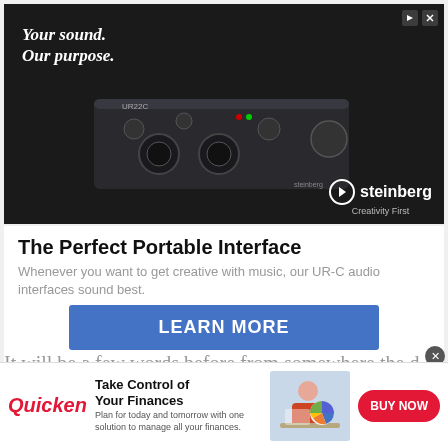[Figure (photo): Steinberg UR-C audio interface advertisement. Dark background with text 'Your sound. Our purpose.' and a photo of a Steinberg UR22C audio interface device. Steinberg logo with 'Creativity First' tagline in bottom right.]
The Perfect Portable Interface
Whenever you want to get creative with music, our UR-C audio interfaces sound best.
LEARN MORE
Ad
It will be a few words before from somewhere the d
[Figure (photo): Quicken advertisement banner. Quicken logo in red italic, 'Take Control of Your Finances' headline, description text, woman at laptop photo, BUY NOW red pill button, and X close button.]